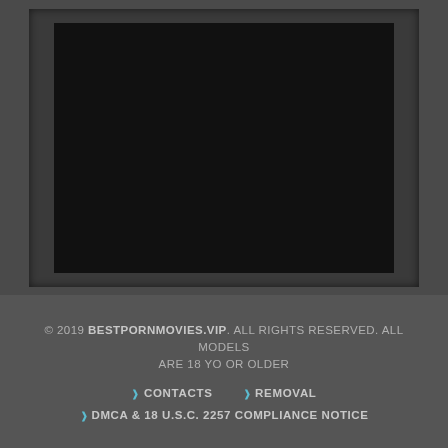[Figure (screenshot): Dark video player area with black video screen on grey background]
© 2019 BESTPORNMOVIES.VIP. ALL RIGHTS RESERVED. ALL MODELS ARE 18 YO OR OLDER
❱ CONTACTS  ❱ REMOVAL
❱ DMCA & 18 U.S.C. 2257 COMPLIANCE NOTICE